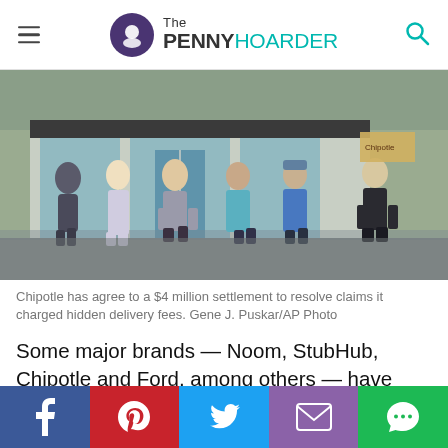The PENNY HOARDER
[Figure (photo): People standing in line outside a Chipotle restaurant, wearing masks, on a rainy day.]
Chipotle has agree to a $4 million settlement to resolve claims it charged hidden delivery fees. Gene J. Puskar/AP Photo
Some major brands — Noom, StubHub, Chipotle and Ford, among others — have agreed to class action lawsuit settlements with claim deadlines coming up this month.
Social share bar: Facebook, Pinterest, Twitter, Email, Chat